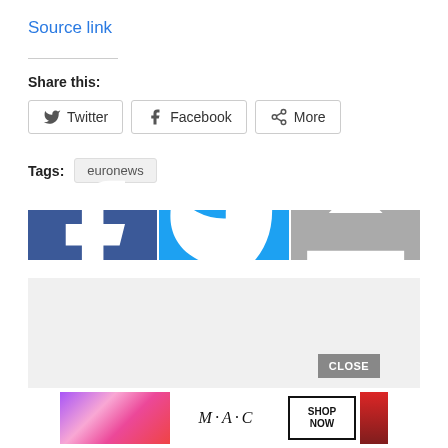Source link
Share this:
Twitter  Facebook  More
Tags:  euronews
[Figure (infographic): Social share buttons bar: Facebook (dark blue), Twitter (light blue), Share (gray) with icons]
[Figure (infographic): Gray advertisement placeholder area with CLOSE button]
[Figure (infographic): MAC cosmetics advertisement banner showing lipsticks, MAC logo, and SHOP NOW button]